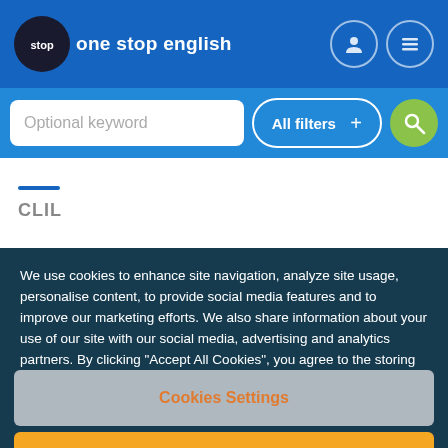[Figure (logo): One Stop English logo with dark circle and white text on blue header bar with user and menu icons]
[Figure (screenshot): Search bar with Optional keyword input, All filters button, and green search icon]
CLIL
We use cookies to enhance site navigation, analyze site usage, personalise content, to provide social media features and to improve our marketing efforts. We also share information about your use of our site with our social media, advertising and analytics partners. By clicking "Accept All Cookies", you agree to the storing of cookies on your device for the described purposes.
Cookies Settings
Reject All